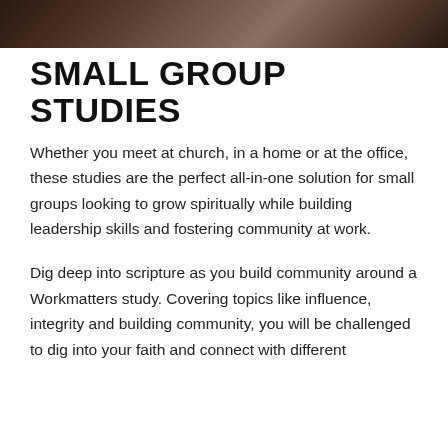[Figure (photo): Dark-toned photograph strip at the top of the page, showing a dimly lit scene, likely people in a meeting or study setting]
SMALL GROUP STUDIES
Whether you meet at church, in a home or at the office, these studies are the perfect all-in-one solution for small groups looking to grow spiritually while building leadership skills and fostering community at work.
Dig deep into scripture as you build community around a Workmatters study. Covering topics like influence, integrity and building community, you will be challenged to dig into your faith and connect with different...